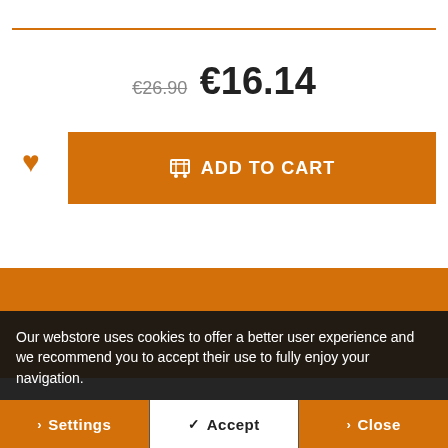€26.90  €16.14
[Figure (other): Add to cart button with shopping cart icon, orange background, white text reading 'ADD TO CART']
[Figure (other): Orange section with ID card icon and partial social icons visible]
Our webstore uses cookies to offer a better user experience and we recommend you to accept their use to fully enjoy your navigation.
> Settings   ✓ Accept   > Close